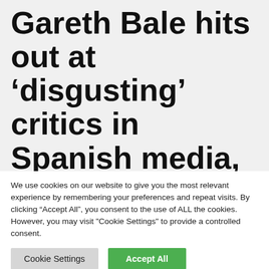Gareth Bale hits out at ‘disgusting’ critics in Spanish media, who labelled Actual Madrid man a
We use cookies on our website to give you the most relevant experience by remembering your preferences and repeat visits. By clicking “Accept All”, you consent to the use of ALL the cookies. However, you may visit "Cookie Settings" to provide a controlled consent.